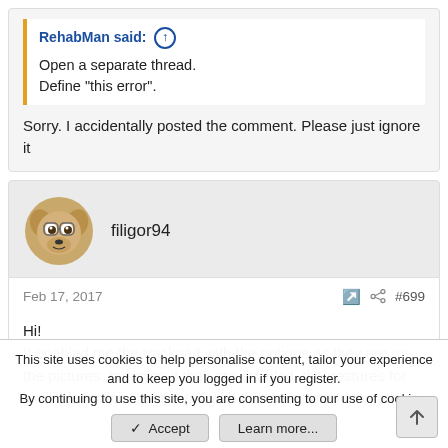RehabMan said: ↑
Open a separate thread.
Define "this error".
Sorry. I accidentally posted the comment. Please just ignore it
filigor94
Feb 17, 2017   #699
Hi!
It enabled me the trackpad with the options as they are on the pictures, but even if they are enabled, the gestures for example for mission control with 3 fingers up and the others
This site uses cookies to help personalise content, tailor your experience and to keep you logged in if you register.
By continuing to use this site, you are consenting to our use of cookies.
✓ Accept   Learn more...